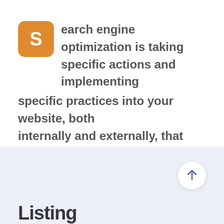Search engine optimization is taking specific actions and implementing specific practices into your website, both internally and externally, that increases the organic traffic and search engine result rank of your website on search engine result pages.
Listing